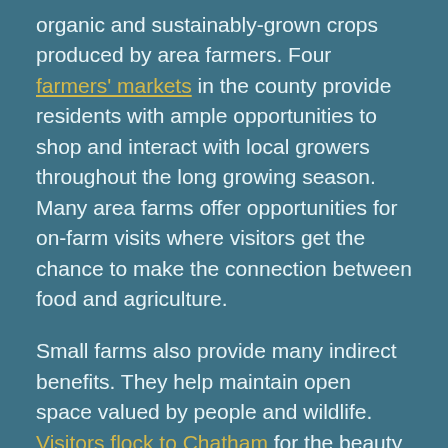organic and sustainably-grown crops produced by area farmers. Four farmers' markets in the county provide residents with ample opportunities to shop and interact with local growers throughout the long growing season. Many area farms offer opportunities for on-farm visits where visitors get the chance to make the connection between food and agriculture.
Small farms also provide many indirect benefits. They help maintain open space valued by people and wildlife. Visitors flock to Chatham for the beauty of its rural landscape. The challenge is to preserve this rural landscape in the face of development pressures from Raleigh and Chapel Hill. One way to preserve the rural landscape is to help keep farms in the county.
The Chatham County Center of North Carolina